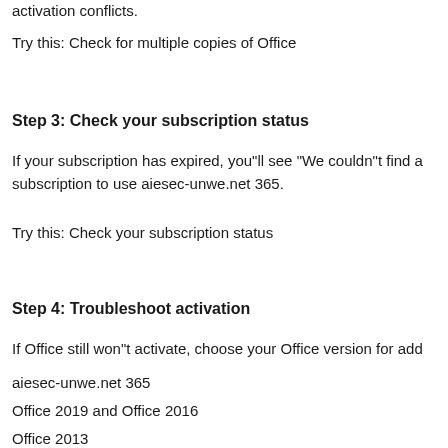activation conflicts.
Try this: Check for multiple copies of Office
Step 3: Check your subscription status
If your subscription has expired, you"ll see "We couldn"t find a subscription to use aiesec-unwe.net 365.
Try this: Check your subscription status
Step 4: Troubleshoot activation
If Office still won"t activate, choose your Office version for add
aiesec-unwe.net 365
Office 2019 and Office 2016
Office 2013